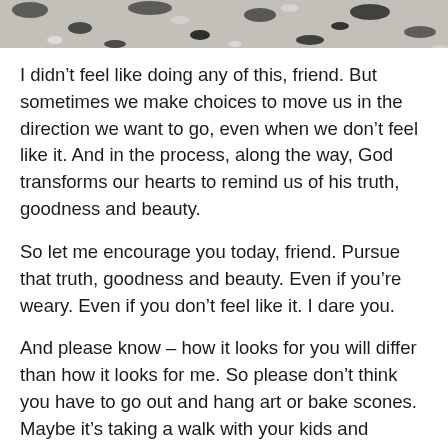[Figure (photo): Partial photo of a mottled black and white stone or granite texture, visible at the top of the page.]
I didn't feel like doing any of this, friend. But sometimes we make choices to move us in the direction we want to go, even when we don't feel like it. And in the process, along the way, God transforms our hearts to remind us of his truth, goodness and beauty.
So let me encourage you today, friend. Pursue that truth, goodness and beauty. Even if you're weary. Even if you don't feel like it. I dare you.
And please know – how it looks for you will differ than how it looks for me. So please don't think you have to go out and hang art or bake scones. Maybe it's taking a walk with your kids and watching a sunset, or sitting down for sliced apples dipped in peanut butter, or drinking hot tea and listening to music, or…something else.